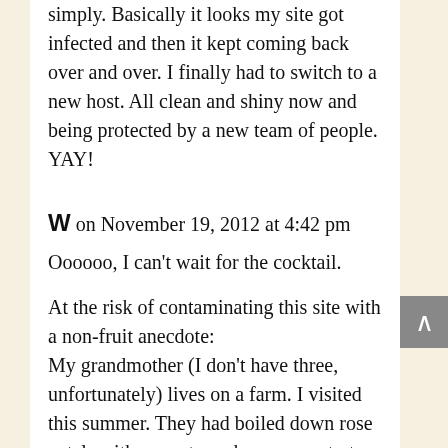simply. Basically it looks my site got infected and then it kept coming back over and over. I finally had to switch to a new host. All clean and shiny now and being protected by a new team of people. YAY!
W on November 19, 2012 at 4:42 pm
Oooooo, I can't wait for the cocktail.
At the risk of contaminating this site with a non-fruit anecdote:
My grandmother (I don't have three, unfortunately) lives on a farm. I visited this summer. They had boiled down rose petals with sugar to make a concentrate for Italian soda. It was so delicate and heavenly. Really, I felt I didn't deserve it.